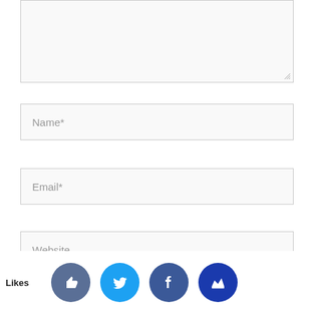[Figure (screenshot): Comment form textarea (top portion, empty, resizable) with placeholder or no text]
Name*
Email*
Website
Likes